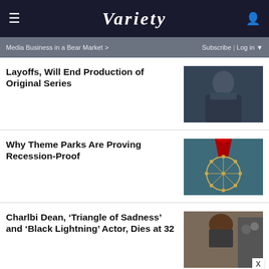VARIETY
Media Business in a Bear Market >   Subscribe | Log in
Layoffs, Will End Production of Original Series
[Figure (photo): Man in dark jacket looking away]
Why Theme Parks Are Proving Recession-Proof
[Figure (illustration): Ferris wheel medal illustration on teal background with red ribbon]
Charlbi Dean, ‘Triangle of Sadness’ and ‘Black Lightning’ Actor, Dies at 32
[Figure (photo): Woman with long brown hair at event, paparazzi in background]
[Figure (other): BOGO BLINK MINIS GET YOURS NOW - SPY advertisement banner]